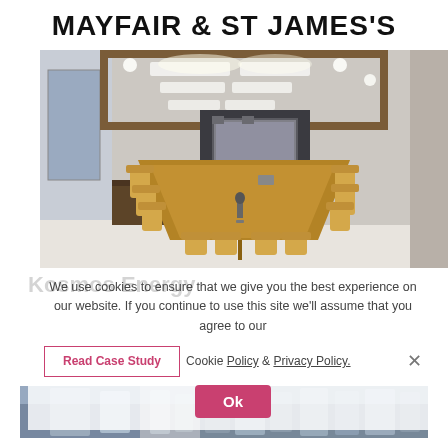MAYFAIR & ST JAMES'S
[Figure (photo): Interior photo of a modern conference room with a long wooden table, tan leather chairs, recessed ceiling lights, wood veneer ceiling frame, wall-mounted display screen, and a window with city view.]
Kosmos Energy
We use cookies to ensure that we give you the best experience on our website. If you continue to use this site we'll assume that you agree to our
Read Case Study
Cookie Policy & Privacy Policy.
Ok
Case Study
[Figure (photo): Partial view of a city street with buildings, appearing to be London architecture.]